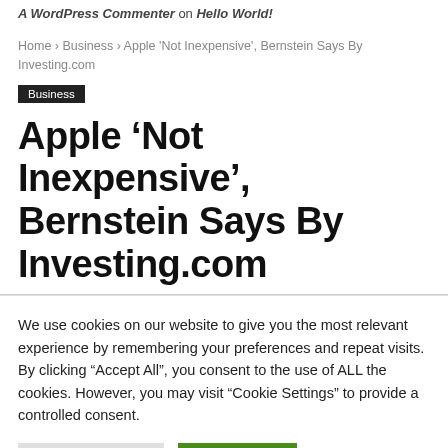A WordPress Commenter on Hello World!
Home › Business › Apple 'Not Inexpensive', Bernstein Says By Investing.com
Business
Apple 'Not Inexpensive', Bernstein Says By Investing.com
We use cookies on our website to give you the most relevant experience by remembering your preferences and repeat visits. By clicking "Accept All", you consent to the use of ALL the cookies. However, you may visit "Cookie Settings" to provide a controlled consent.
Cookie Settings | Accept All